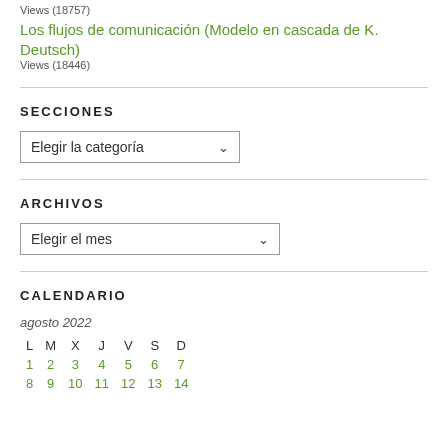Views (18757)
Los flujos de comunicación (Modelo en cascada de K. Deutsch)
Views (18446)
SECCIONES
Elegir la categoría
ARCHIVOS
Elegir el mes
CALENDARIO
agosto 2022
| L | M | X | J | V | S | D |
| --- | --- | --- | --- | --- | --- | --- |
| 1 | 2 | 3 | 4 | 5 | 6 | 7 |
| 8 | 9 | 10 | 11 | 12 | 13 | 14 |